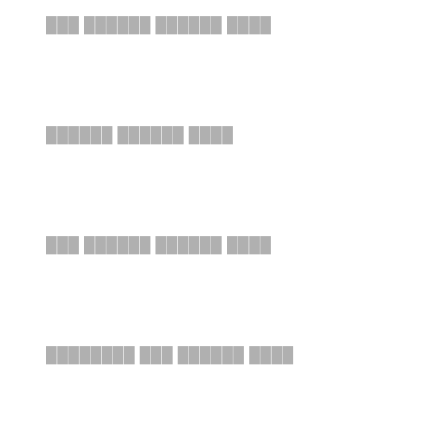███ ██████ ██████ ████
██████ ██████ ████
███ ██████ ██████ ████
████████ ███ ██████ ████
█████ ████████ █████████ █ █████████
███ █████████
█████████
█████ █ ██
███ █ ██████
███ █ █████